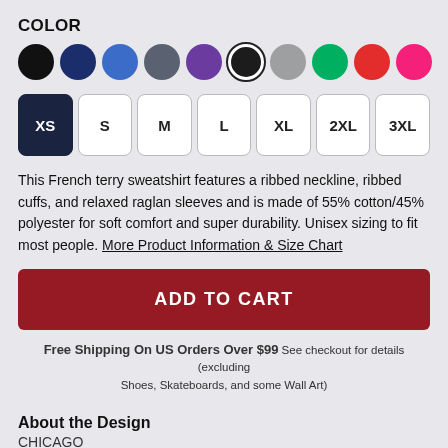COLOR
[Figure (other): Color swatches: black, navy, blue, dark gray, purple, black (selected with ring), gray, green, red, pink]
[Figure (other): Size selector buttons: XS (selected/dark), S, M, L, XL, 2XL, 3XL]
This French terry sweatshirt features a ribbed neckline, ribbed cuffs, and relaxed raglan sleeves and is made of 55% cotton/45% polyester for soft comfort and super durability. Unisex sizing to fit most people. More Product Information & Size Chart
ADD TO CART
Free Shipping On US Orders Over $99 See checkout for details (excluding Shoes, Skateboards, and some Wall Art)
About the Design
CHICAGO